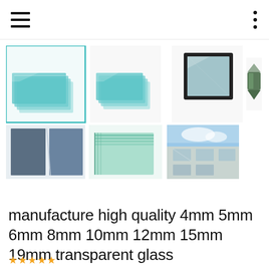Navigation header with hamburger menu and options dots
[Figure (photo): Product image gallery showing glass panels in various configurations: stacked glass sheets (selected, teal border), stacked glass sheets (thumbnail), framed insulated glass unit, glass edge profile, dark/blue glass panels, green glass stack, building facade with glass]
manufacture high quality 4mm 5mm 6mm 8mm 10mm 12mm 15mm 19mm transparent glass